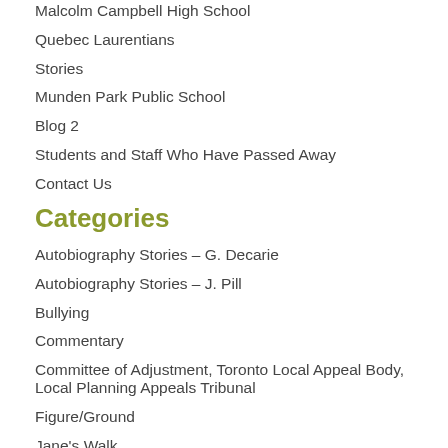Malcolm Campbell High School
Quebec Laurentians
Stories
Munden Park Public School
Blog 2
Students and Staff Who Have Passed Away
Contact Us
Categories
Autobiography Stories – G. Decarie
Autobiography Stories – J. Pill
Bullying
Commentary
Committee of Adjustment, Toronto Local Appeal Body, Local Planning Appeals Tribunal
Figure/Ground
Jane's Walk
Language usage